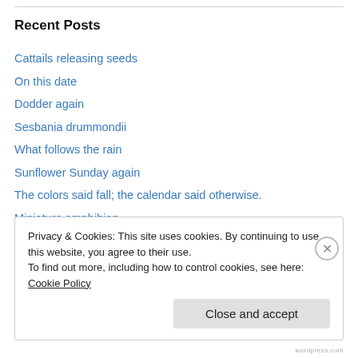Recent Posts
Cattails releasing seeds
On this date
Dodder again
Sesbania drummondii
What follows the rain
Sunflower Sunday again
The colors said fall; the calendar said otherwise.
Miniature amphibian
Embarking on another round of beetle galleries
Three takes on yellow
Privacy & Cookies: This site uses cookies. By continuing to use this website, you agree to their use. To find out more, including how to control cookies, see here: Cookie Policy
wordpress.com